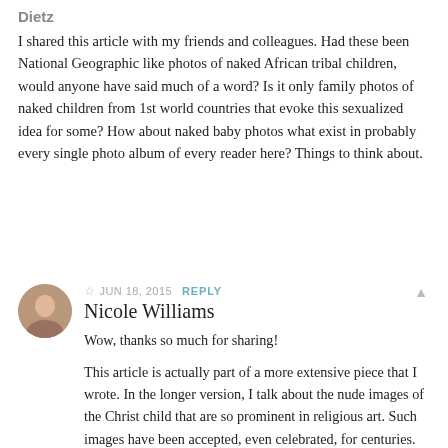Dietz
I shared this article with my friends and colleagues. Had these been National Geographic like photos of naked African tribal children, would anyone have said much of a word? Is it only family photos of naked children from 1st world countries that evoke this sexualized idea for some? How about naked baby photos what exist in probably every single photo album of every reader here? Things to think about.
☆ JUN 18, 2015  REPLY
Nicole Williams
Wow, thanks so much for sharing!
This article is actually part of a more extensive piece that I wrote. In the longer version, I talk about the nude images of the Christ child that are so prominent in religious art. Such images have been accepted, even celebrated, for centuries.
Your point about photos of African tribal children is